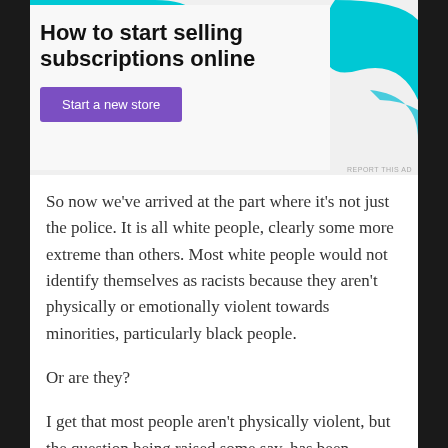[Figure (infographic): Advertisement banner: 'How to start selling subscriptions online' with a purple 'Start a new store' button, teal decorative shapes, and a 'REPORT THIS AD' label.]
So now we've arrived at the part where it's not just the police. It is all white people, clearly some more extreme than others. Most white people would not identify themselves as racists because they aren't physically or emotionally violent towards minorities, particularly black people.
Or are they?
I get that most people aren't physically violent, but the question being raised some say, has been...